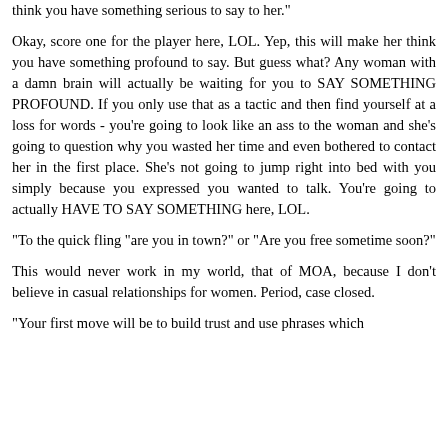think you have something serious to say to her."
Okay, score one for the player here, LOL. Yep, this will make her think you have something profound to say. But guess what? Any woman with a damn brain will actually be waiting for you to SAY SOMETHING PROFOUND. If you only use that as a tactic and then find yourself at a loss for words - you're going to look like an ass to the woman and she's going to question why you wasted her time and even bothered to contact her in the first place. She's not going to jump right into bed with you simply because you expressed you wanted to talk. You're going to actually HAVE TO SAY SOMETHING here, LOL.
"To the quick fling "are you in town?" or "Are you free sometime soon?"
This would never work in my world, that of MOA, because I don't believe in casual relationships for women. Period, case closed.
"Your first move will be to build trust and use phrases which